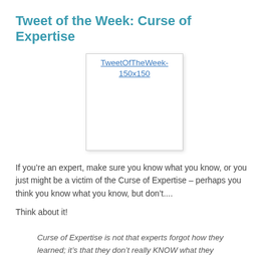Tweet of the Week: Curse of Expertise
[Figure (other): Placeholder image for TweetOfTheWeek-150x150 with broken image icon and link text]
If you’re an expert, make sure you know what you know, or you just might be a victim of the Curse of Expertise – perhaps you think you know what you know, but don’t....
Think about it!
Curse of Expertise is not that experts forgot how they learned; it’s that they don’t really KNOW what they